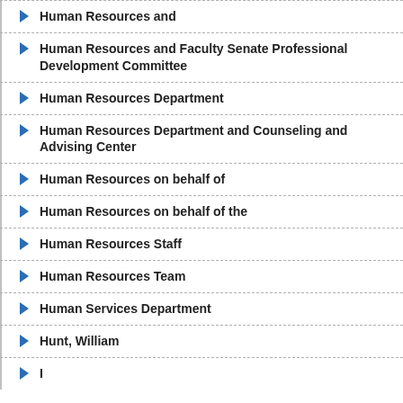Human Resources and
Human Resources and Faculty Senate Professional Development Committee
Human Resources Department
Human Resources Department and Counseling and Advising Center
Human Resources on behalf of
Human Resources on behalf of the
Human Resources Staff
Human Resources Team
Human Services Department
Hunt, William
I